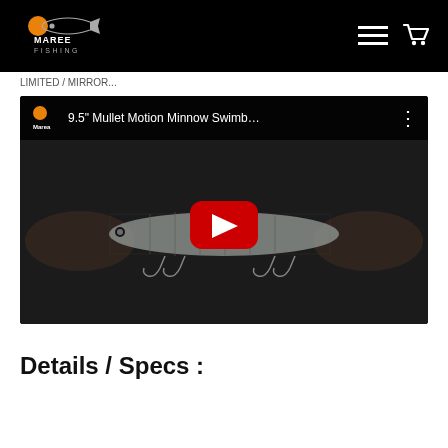[Figure (logo): Marea Fishing logo — fish silhouette with sun icon and text FISHING on black navbar background]
Marea Fishing navigation bar with menu and cart icons
LIMITED / MIRROR...
[Figure (screenshot): YouTube video thumbnail showing a person holding a 9.5 inch Mullet Motion Minnow Swimbait fishing lure with hooks, dark background, red YouTube play button in center. Video title: 9.5" Mullet Motion Minnow Swimbait...]
Details / Specs :